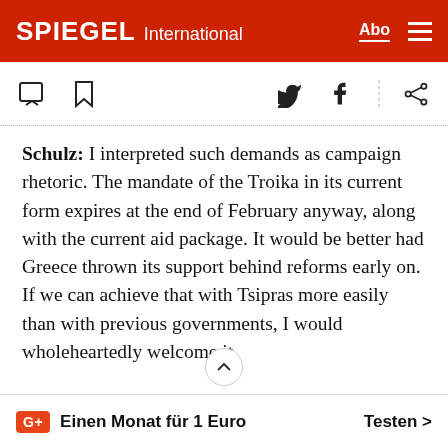SPIEGEL International
Schulz: I interpreted such demands as campaign rhetoric. The mandate of the Troika in its current form expires at the end of February anyway, along with the current aid package. It would be better had Greece thrown its support behind reforms early on. If we can achieve that with Tsipras more easily than with previous governments, I would wholeheartedly welcome it.
SPIEGEL: The idea behind the troika, though, was to create a kind of techno...ic buffer between
Einen Monat für 1 Euro  Testen >